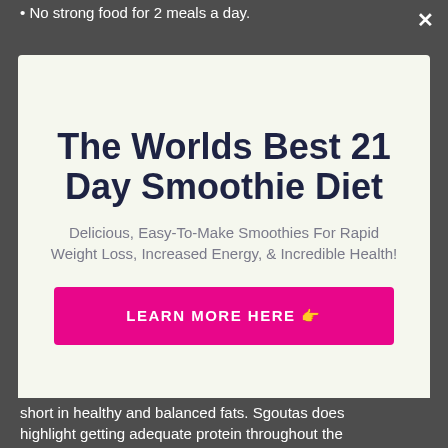No strong food for 2 meals a day.
The Worlds Best 21 Day Smoothie Diet
Delicious, Easy-To-Make Smoothies For Rapid Weight Loss, Increased Energy, & Incredible Health!
LEARN MORE HERE 👉
No thanks, I'm not interested!
short in healthy and balanced fats. Sgoutas does highlight getting adequate protein throughout the